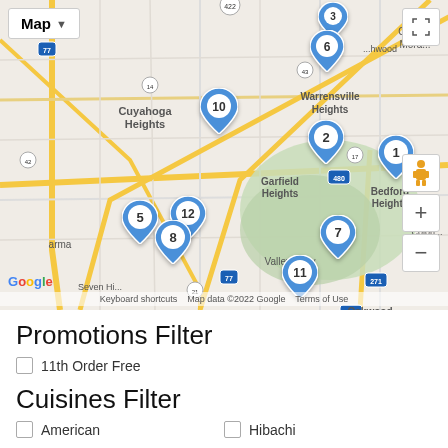[Figure (map): Google Map of Cleveland/Cuyahoga area showing numbered location pins (1-12) for restaurant locations near Warrensville Heights, Garfield Heights, Bedford Heights, Seven Hills, Valley View, Independence, Northfield, Oakwood areas. Map data ©2022 Google.]
Promotions Filter
11th Order Free
Cuisines Filter
American
Hibachi